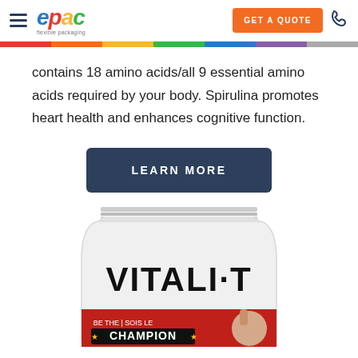epac flexible packaging — GET A QUOTE
contains 18 amino acids/all 9 essential amino acids required by your body. Spirulina promotes heart health and enhances cognitive function.
[Figure (other): Dark blue rounded rectangle button with white bold text reading LEARN MORE]
[Figure (photo): White flexible packaging pouch with VITALI·T branding in large black letters, and a red banner at the bottom reading BE THE / SOIS LE CHAMPION with a woman raising her fist]